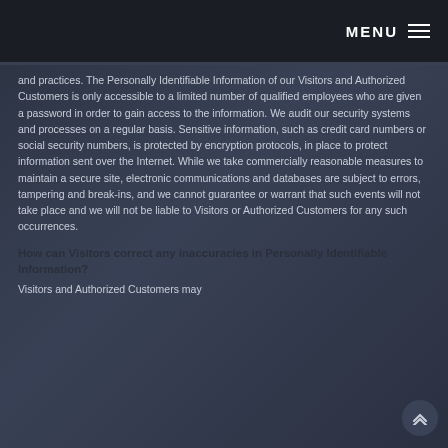MENU
and practices. The Personally Identifiable Information of our Visitors and Authorized Customers is only accessible to a limited number of qualified employees who are given a password in order to gain access to the information. We audit our security systems and processes on a regular basis. Sensitive information, such as credit card numbers or social security numbers, is protected by encryption protocols, in place to protect information sent over the Internet. While we take commercially reasonable measures to maintain a secure site, electronic communications and databases are subject to errors, tampering and break-ins, and we cannot guarantee or warrant that such events will not take place and we will not be liable to Visitors or Authorized Customers for any such occurrences.
How can Visitors correct any inaccuracies in Personally Identifiable Information?
Visitors and Authorized Customers may